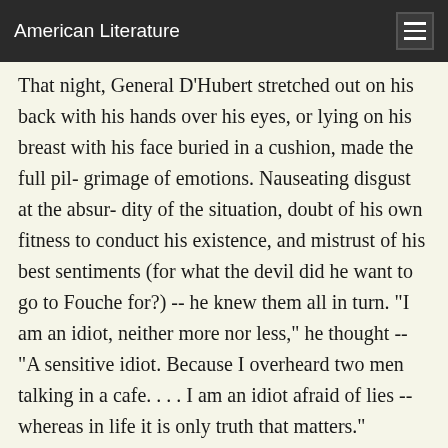American Literature
That night, General D'Hubert stretched out on his back with his hands over his eyes, or lying on his breast with his face buried in a cushion, made the full pil- grimage of emotions. Nauseating disgust at the absur- dity of the situation, doubt of his own fitness to conduct his existence, and mistrust of his best sentiments (for what the devil did he want to go to Fouche for?) -- he knew them all in turn. "I am an idiot, neither more nor less," he thought -- "A sensitive idiot. Because I overheard two men talking in a cafe. . . . I am an idiot afraid of lies -- whereas in life it is only truth that matters."
Several times he got up and, walking in his socks in